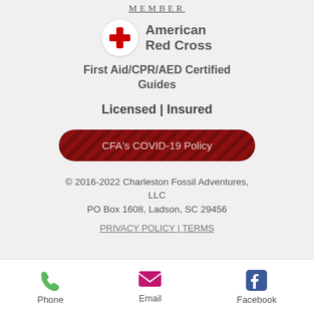MEMBER
[Figure (logo): American Red Cross logo with red cross in white circle and 'American Red Cross' text in bold gray]
First Aid/CPR/AED Certified Guides
Licensed | Insured
[Figure (other): Dark red striped button with text: CFA's COVID-19 Policy]
© 2016-2022 Charleston Fossil Adventures, LLC
PO Box 1608, Ladson, SC 29456
PRIVACY POLICY | TERMS
[Figure (infographic): Footer navigation bar with Phone (green phone icon), Email (pink envelope icon), Facebook (blue Facebook icon)]